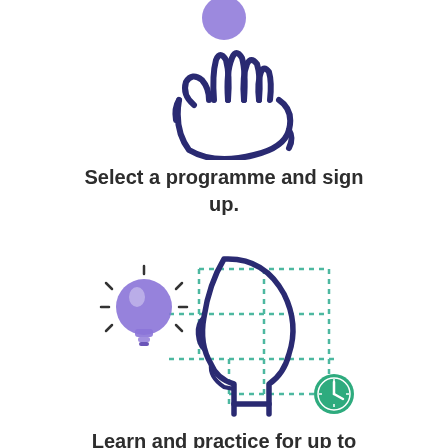[Figure (illustration): Hand receiving or offering an object (a purple circle/coin above), drawn in dark navy outline style]
Select a programme and sign up.
[Figure (illustration): A human head silhouette in dark navy with a purple lightbulb beside it and teal dotted grid lines, with a green clock icon at bottom right]
Learn and practice for up to one hour per week.